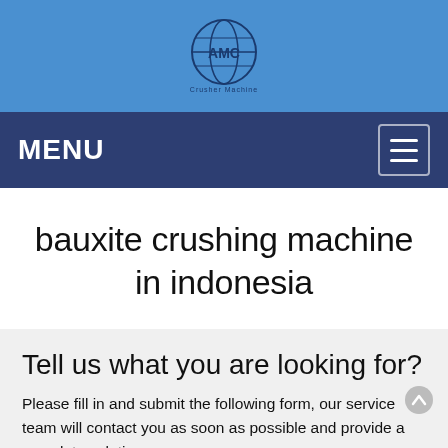[Figure (logo): AMC logo — globe with continents and AMC text, on blue background]
MENU
bauxite crushing machine in indonesia
Tell us what you are looking for?
Please fill in and submit the following form, our service team will contact you as soon as possible and provide a complete solution.